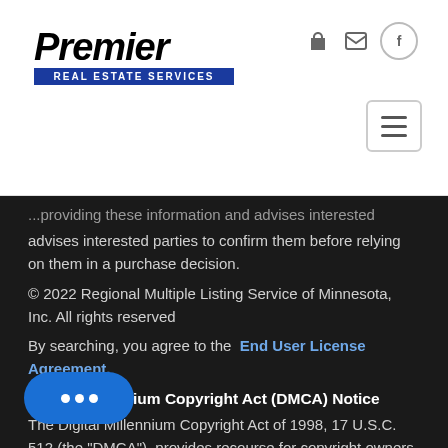[Figure (logo): Premier Real Estate Services logo — bold italic 'Premier' text above a blue banner reading 'REAL ESTATE SERVICES']
...advises interested parties to confirm them before relying on them in a purchase decision.
© 2022 Regional Multiple Listing Service of Minnesota, Inc. All rights reserved
By searching, you agree to the  End User License Agreement.
Digital Millennium Copyright Act (DMCA) Notice
The Digital Millennium Copyright Act of 1998, 17 U.S.C. 512 (the "DMCA"), provides recourse for copyright owners who believe that material appearing on the Internet infringes their rights under U.S. copyright law. If you believe in good faith that any content or material made available in connection with our website or services infringes your copyright, you (or your agent) may send us a notice requesting that the content or material be removed,